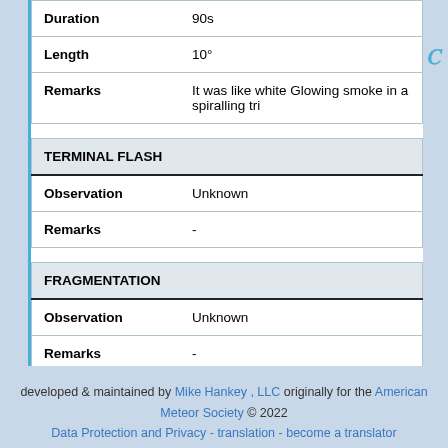|  |  |
| --- | --- |
| Duration | 90s |
| Length | 10° |
| Remarks | It was like white Glowing smoke in a spiralling tri |
| TERMINAL FLASH |  |
| --- | --- |
| Observation | Unknown |
| Remarks | - |
| FRAGMENTATION |  |
| --- | --- |
| Observation | Unknown |
| Remarks | - |
developed & maintained by Mike Hankey , LLC originally for the American Meteor Society © 2022
Data Protection and Privacy - translation - become a translator